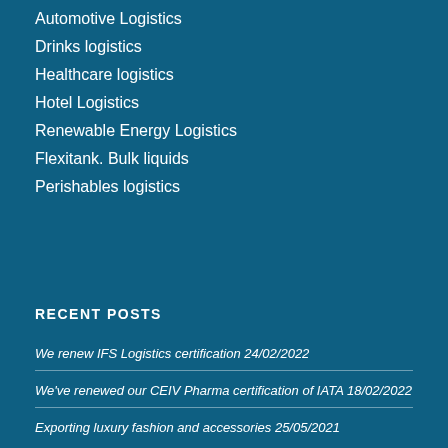Automotive Logistics
Drinks logistics
Healthcare logistics
Hotel Logistics
Renewable Energy Logistics
Flexitank. Bulk liquids
Perishables logistics
RECENT POSTS
We renew IFS Logistics certification 24/02/2022
We've renewed our CEIV Pharma certification of IATA 18/02/2022
Exporting luxury fashion and accessories 25/05/2021